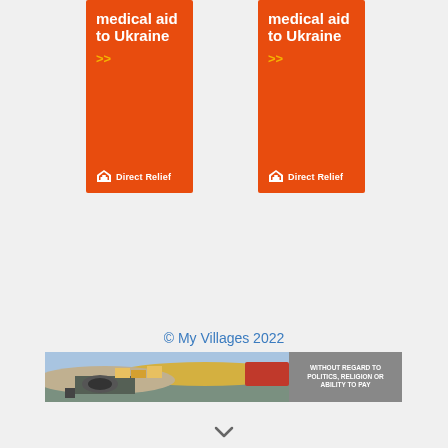[Figure (illustration): Direct Relief orange banner ad: 'medical aid to Ukraine' with yellow chevron arrows and Direct Relief logo (left instance)]
[Figure (illustration): Direct Relief orange banner ad: 'medical aid to Ukraine' with yellow chevron arrows and Direct Relief logo (right instance)]
© My Villages 2022
[Figure (photo): Wide banner image showing aircraft being loaded with cargo at an airport, with text 'WITHOUT REGARD TO POLITICS, RELIGION OR ABILITY TO PAY' on the right side on a gray background]
[Figure (illustration): Small downward chevron/arrow icon at bottom center of page]